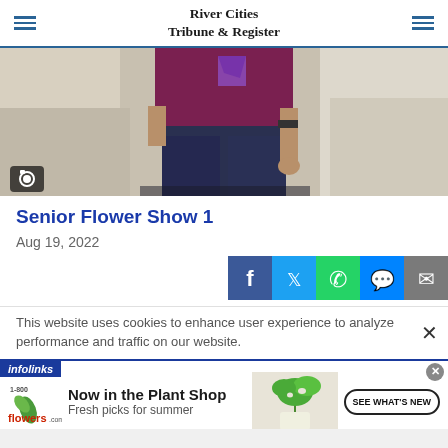River Cities Tribune & Register
[Figure (photo): Partial view of a person wearing a maroon/purple top and dark jeans standing near a bed with white sheets]
Senior Flower Show 1
Aug 19, 2022
[Figure (other): Social share buttons: Facebook, Twitter, WhatsApp, Messenger, Email]
This website uses cookies to enhance user experience to analyze performance and traffic on our website.
[Figure (other): infolinks ad label and 1-800-flowers.com advertisement: Now in the Plant Shop – Fresh picks for summer. SEE WHAT'S NEW button.]